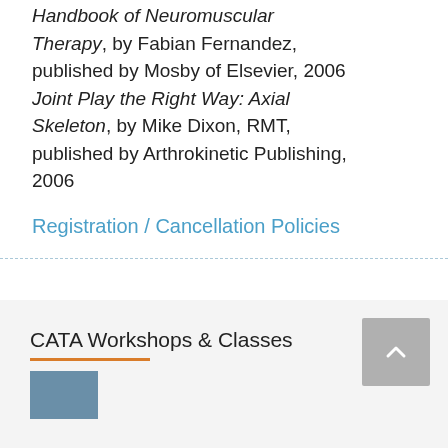Handbook of Neuromuscular Therapy, by Fabian Fernandez, published by Mosby of Elsevier, 2006 Joint Play the Right Way: Axial Skeleton, by Mike Dixon, RMT, published by Arthrokinetic Publishing, 2006
Registration / Cancellation Policies
CATA Workshops & Classes